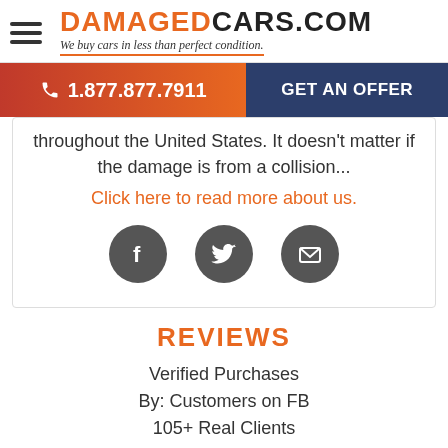DAMAGEDCARS.COM — We buy cars in less than perfect condition.
1.877.877.7911
GET AN OFFER
throughout the United States. It doesn't matter if the damage is from a collision...
Click here to read more about us.
[Figure (illustration): Three social media icons in dark grey circles: Facebook (f), Twitter (bird), and Email (envelope)]
REVIEWS
Verified Purchases
By: Customers on FB
105+ Real Clients
4.4 / 5 stars